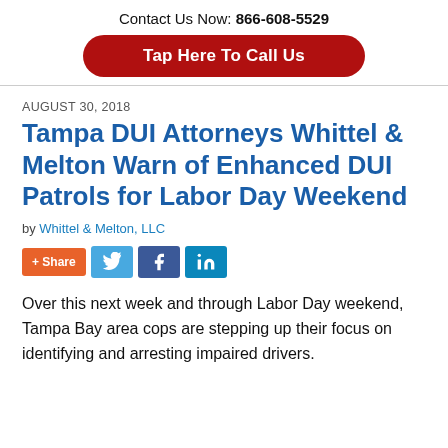Contact Us Now: 866-608-5529
Tap Here To Call Us
AUGUST 30, 2018
Tampa DUI Attorneys Whittel & Melton Warn of Enhanced DUI Patrols for Labor Day Weekend
by Whittel & Melton, LLC
[Figure (infographic): Social sharing buttons: +Share (orange), Twitter (blue), Facebook (dark blue), LinkedIn (blue)]
Over this next week and through Labor Day weekend, Tampa Bay area cops are stepping up their focus on identifying and arresting impaired drivers.